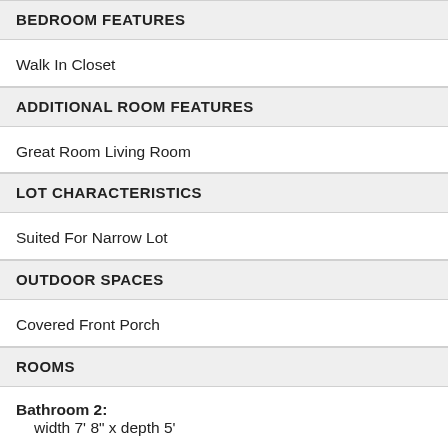BEDROOM FEATURES
Walk In Closet
ADDITIONAL ROOM FEATURES
Great Room Living Room
LOT CHARACTERISTICS
Suited For Narrow Lot
OUTDOOR SPACES
Covered Front Porch
ROOMS
Bathroom 2: width 7' 8" x depth 5'
Bedroom 1: 180 sq/ft width 15' x depth 12'
Bedroom 2: